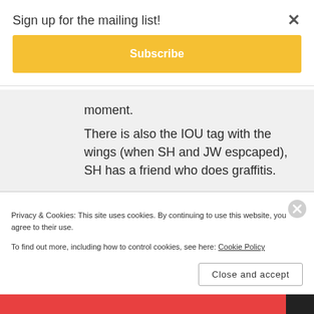Sign up for the mailing list!
Subscribe
moment.
There is also the IOU tag with the wings (when SH and JW espcaped), SH has a friend who does graffitis.

Well I don’t know what to do with all that 🙂
Privacy & Cookies: This site uses cookies. By continuing to use this website, you agree to their use.
To find out more, including how to control cookies, see here: Cookie Policy
Close and accept